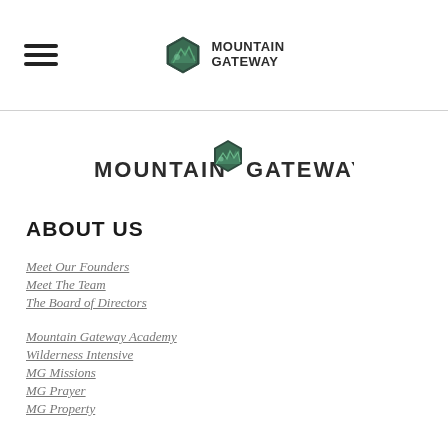Mountain Gateway (header logo with hamburger menu)
[Figure (logo): Mountain Gateway large logo with hexagon emblem, centered]
ABOUT US
Meet Our Founders
Meet The Team
The Board of Directors
Mountain Gateway Academy
Wilderness Intensive
MG Missions
MG Prayer
MG Property